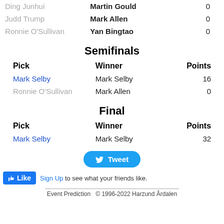| Pick | Winner | Points |
| --- | --- | --- |
| Ding Junhui | Martin Gould | 0 |
| Judd Trump | Mark Allen | 0 |
| Ronnie O'Sullivan | Yan Bingtao | 0 |
Semifinals
| Pick | Winner | Points |
| --- | --- | --- |
| Mark Selby | Mark Selby | 16 |
| Ronnie O'Sullivan | Mark Allen | 0 |
Final
| Pick | Winner | Points |
| --- | --- | --- |
| Mark Selby | Mark Selby | 32 |
[Figure (other): Tweet button]
Like  Sign Up to see what your friends like.
Event Prediction  © 1996-2022 Harzund Årdalen